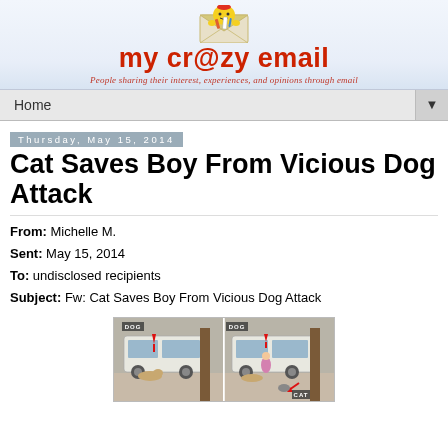[Figure (logo): My Crazy Email website header with envelope logo, site name 'my cr@zy email' in red, and tagline 'People sharing their interest, experiences, and opinions through email']
Home
Thursday, May 15, 2014
Cat Saves Boy From Vicious Dog Attack
From: Michelle M.
Sent: May 15, 2014
To: undisclosed recipients
Subject: Fw: Cat Saves Boy From Vicious Dog Attack
[Figure (photo): Two side-by-side video stills showing a dog attack and cat intervention. Left panel: white SUV, tree, dog labeled with red arrow pointing down. Right panel: dog labeled with red arrow, child, cat labeled with red arrow at bottom right.]